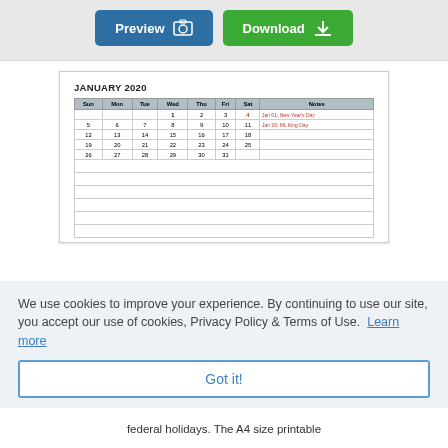[Figure (screenshot): Preview and Download buttons with camera and download icons on a grey background]
[Figure (screenshot): January 2020 calendar preview card with columns Sun, Mon, Tue, Wed, Thu, Fri, Sat, Notes and holiday annotations]
We use cookies to improve your experience. By continuing to use our site, you accept our use of cookies, Privacy Policy & Terms of Use. Learn more
Got it!
federal holidays. The A4 size printable